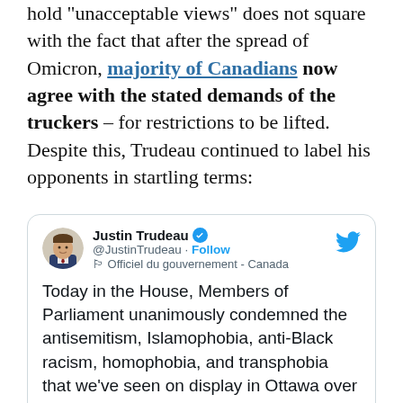hold "unacceptable views" does not square with the fact that after the spread of Omicron, a majority of Canadians now agree with the stated demands of the truckers – for restrictions to be lifted. Despite this, Trudeau continued to label his opponents in startling terms:
[Figure (screenshot): Embedded tweet from Justin Trudeau (@JustinTreau) with verified badge and Follow button. Tweet text: 'Today in the House, Members of Parliament unanimously condemned the antisemitism, Islamophobia, anti-Black racism, homophobia, and transphobia that we've seen on display in Ottawa over the past number of days. Together, let's keep working to make Canada more']